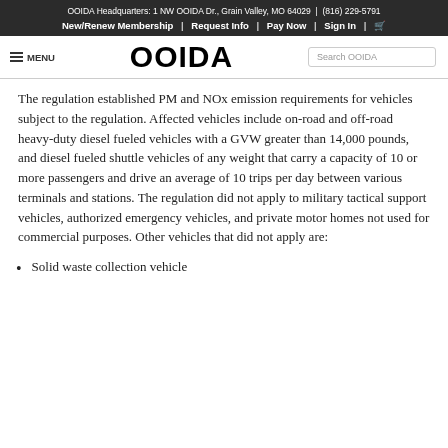OOIDA Headquarters: 1 NW OOIDA Dr., Grain Valley, MO 64029  |  (816) 229-5791
New/Renew Membership  |  Request Info  |  Pay Now  |  Sign In  |  [cart]
MENU  OOIDA  Search OOIDA
The regulation established PM and NOx emission requirements for vehicles subject to the regulation. Affected vehicles include on-road and off-road heavy-duty diesel fueled vehicles with a GVW greater than 14,000 pounds, and diesel fueled shuttle vehicles of any weight that carry a capacity of 10 or more passengers and drive an average of 10 trips per day between various terminals and stations. The regulation did not apply to military tactical support vehicles, authorized emergency vehicles, and private motor homes not used for commercial purposes. Other vehicles that did not apply are:
Solid waste collection vehicle